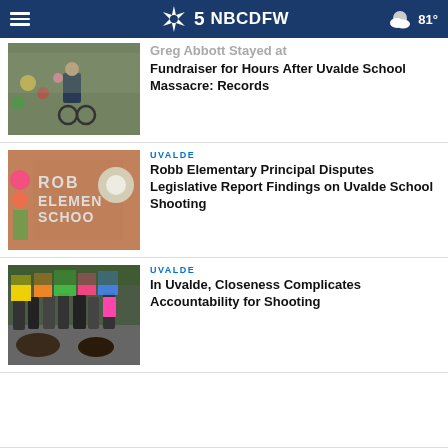NBC DFW | 81°
[Figure (photo): Person in wheelchair at a memorial with flowers and tributes]
Greg Abbott Stayed at Fundraiser for Hours After Uvalde School Massacre: Records
[Figure (photo): Robb Elementary School sign with memorial flowers and decorations]
UVALDE
Robb Elementary Principal Disputes Legislative Report Findings on Uvalde School Shooting
[Figure (photo): Protesters marching with signs in the street]
UVALDE
In Uvalde, Closeness Complicates Accountability for Shooting